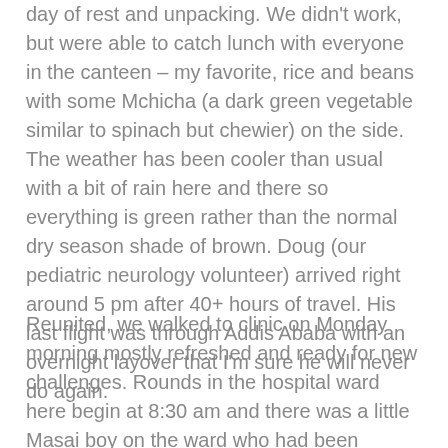day of rest and unpacking. We didn't work, but were able to catch lunch with everyone in the canteen – my favorite, rice and beans with some Mchicha (a dark green vegetable similar to spinach but chewier) on the side. The weather has been cooler than usual with a bit of rain here and there so everything is green rather than the normal dry season shade of brown. Doug (our pediatric neurology volunteer) arrived right around 5 pm after 40+ hours of travel. His last flight was through Addis Ababa with an overnight layover that I'm sure he will never do again.
Reunited, we walked to clinic on Monday morning mostly refreshed and ready for new challenges. Rounds in the hospital ward here begin at 8:30 am and there was a little Masai boy on the ward who had been waiting there for a week or so for us to see. It was tough